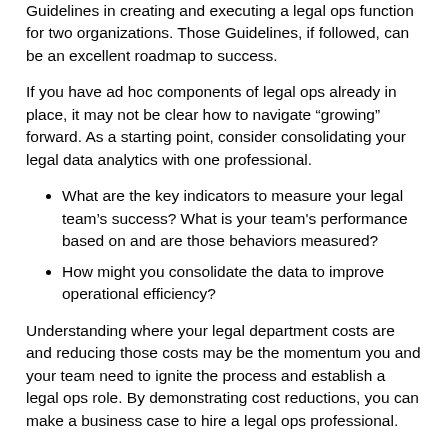Guidelines in creating and executing a legal ops function for two organizations. Those Guidelines, if followed, can be an excellent roadmap to success.
If you have ad hoc components of legal ops already in place, it may not be clear how to navigate “growing” forward. As a starting point, consider consolidating your legal data analytics with one professional.
What are the key indicators to measure your legal team’s success? What is your team's performance based on and are those behaviors measured?
How might you consolidate the data to improve operational efficiency?
Understanding where your legal department costs are and reducing those costs may be the momentum you and your team need to ignite the process and establish a legal ops role. By demonstrating cost reductions, you can make a business case to hire a legal ops professional.
Most general counsel would agree that vendor relations or vendor management is where the most impactful cost reduction lays. Undertaken properly, this can prove to be a